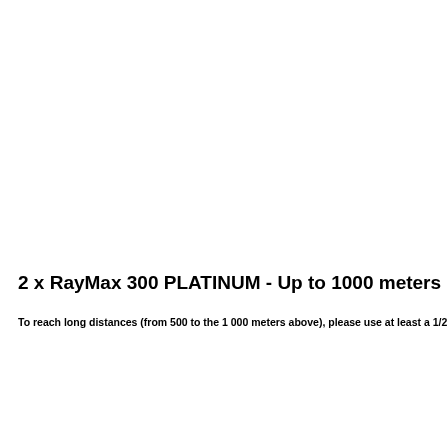2 x RayMax 300 PLATINUM - Up to 1000 meters
To reach long distances (from 500 to the 1 000 meters above), please use at least a 1/2"-inch CCD came...